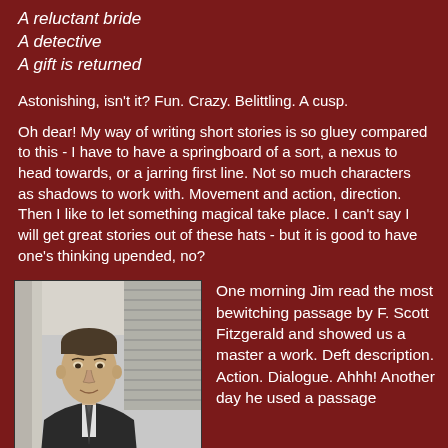A reluctant bride
A detective
A gift is returned
Astonishing, isn't it? Fun. Crazy. Belittling. A cusp.
Oh dear! My way of writing short stories is so gluey compared to this - I have to have a springboard of a sort, a nexus to head towards, or a jarring first line. Not so much characters as shadows to work with. Movement and action, direction. Then I like to let something magical take place. I can't say I will get great stories out of these hats - but it is good to have one's thinking upended, no?
[Figure (photo): Black and white photograph of a man in a suit and tie, standing in front of a building with shuttered windows, likely F. Scott Fitzgerald.]
One morning Jim read the most bewitching passage by F. Scott Fitzgerald and showed us a master a work. Deft description. Action. Dialogue. Ahhh! Another day he used a passage